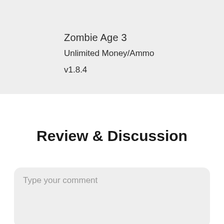Zombie Age 3
Unlimited Money/Ammo
v1.8.4
Review & Discussion
Type your comment
Name